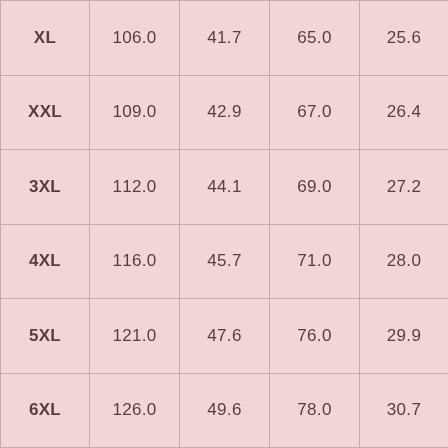| XL | 106.0 | 41.7 | 65.0 | 25.6 |
| XXL | 109.0 | 42.9 | 67.0 | 26.4 |
| 3XL | 112.0 | 44.1 | 69.0 | 27.2 |
| 4XL | 116.0 | 45.7 | 71.0 | 28.0 |
| 5XL | 121.0 | 47.6 | 76.0 | 29.9 |
| 6XL | 126.0 | 49.6 | 78.0 | 30.7 |